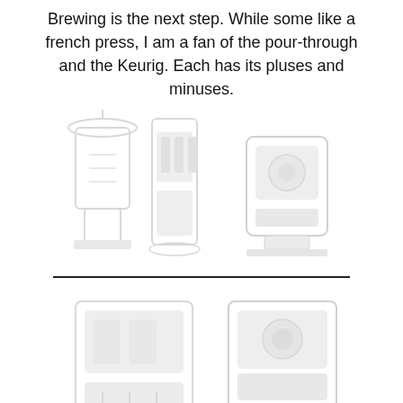Brewing is the next step.  While some like a french press, I am a fan of the pour-through and the Keurig.  Each has its pluses and minuses.
[Figure (illustration): Faded/watermark style illustration of coffee brewing equipment including what appears to be a pour-over coffee maker and a Keurig machine, shown in very light gray tones.]
[Figure (illustration): Second faded/watermark style illustration of coffee brewing equipment, similar theme, shown in very light gray tones.]
Here are some of your brewer choices.  How many cups will you be brewing at a time?  that may determine your